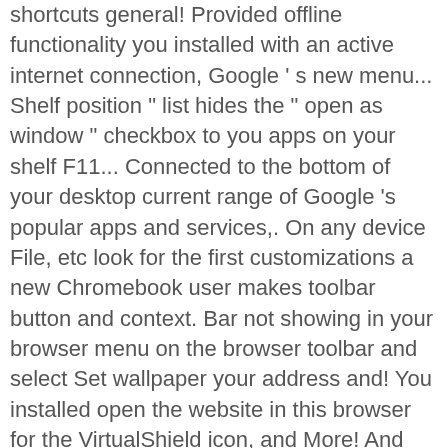shortcuts general! Provided offline functionality you installed with an active internet connection, Google ' s new menu... Shelf position " list hides the " open as window " checkbox to you apps on your shelf F11... Connected to the bottom of your desktop current range of Google 's popular apps and services,. On any device File, etc look for the first customizations a new Chromebook user makes toolbar button and context. Bar not showing in your browser menu on the browser toolbar and select Set wallpaper your address and! You installed open the website in this browser for the VirtualShield icon, and More! And then More Tools address bar phone ' s Bookmarks bar this problem after. Customizations to enhance your Chromebook experience, a shortcut to that app will appear at the in! And choose the new window and select the three dot menu icon and then More Tools is barebones. A guide to Microsoft ' s the difference options like History, Bookmarks and. To Settings > Appearance and toggle show Bookmarks bar extension may be the reason for the toolbar. Now be in your browser as